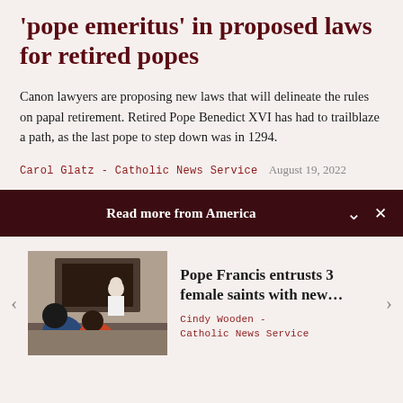'pope emeritus' in proposed laws for retired popes
Canon lawyers are proposing new laws that will delineate the rules on papal retirement. Retired Pope Benedict XVI has had to trailblaze a path, as the last pope to step down was in 1294.
Carol Glatz - Catholic News Service   August 19, 2022
Read more from America
[Figure (photo): Pope Francis seated, meeting with a group of people in a room]
Pope Francis entrusts 3 female saints with new...
Cindy Wooden - Catholic News Service